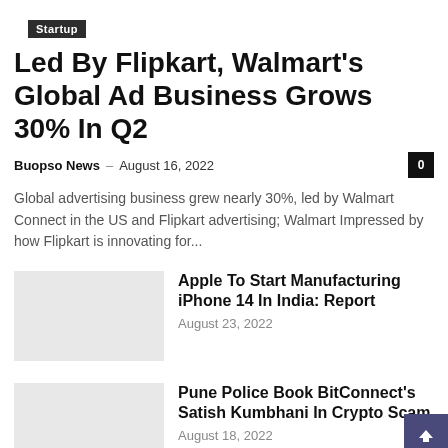Startup
Led By Flipkart, Walmart's Global Ad Business Grows 30% In Q2
Buopso News  –  August 16, 2022  0
Global advertising business grew nearly 30%, led by Walmart Connect in the US and Flipkart advertising; Walmart Impressed by how Flipkart is innovating for...
Apple To Start Manufacturing iPhone 14 In India: Report
August 23, 2022
Pune Police Book BitConnect's Satish Kumbhani In Crypto Scam
August 18, 2022
Chinese State-Backed Hackers Targeted NIC In Cyberattacks